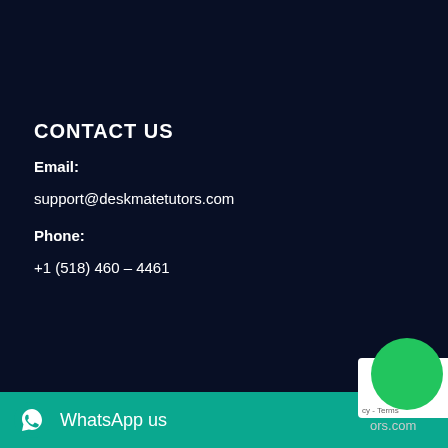CONTACT US
Email:
support@deskmatetutors.com
Phone:
+1 (518) 460 – 4461
WhatsApp us
ors.com